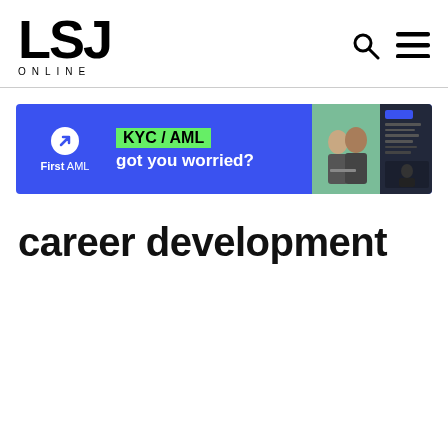[Figure (logo): LSJ Online logo — large bold LSJ text with ONLINE in spaced capitals below]
[Figure (infographic): Advertisement banner for First AML: blue background, arrow circle icon, First AML branding, KYC/AML headline in green highlight, 'got you worried?' subtext, photos of people and documents on right]
career development